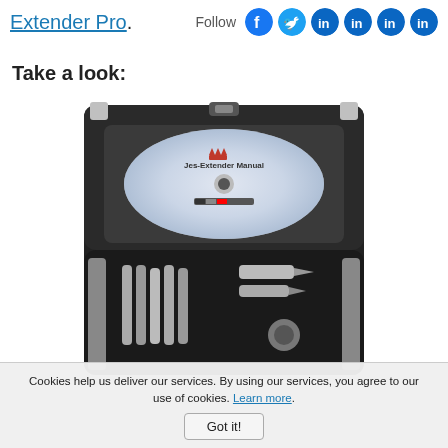Extender Pro.
Follow [social icons]
Take a look:
[Figure (photo): Open black carrying case showing a DVD/CD disc labeled 'Jes-Extender Manual' with a crown logo, resting in the lid, and multiple metal extension rods and components in foam cutouts in the lower tray.]
Cookies help us deliver our services. By using our services, you agree to our use of cookies. Learn more.
Got it!